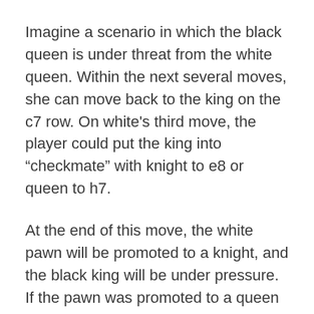Imagine a scenario in which the black queen is under threat from the white queen. Within the next several moves, she can move back to the king on the c7 row. On white's third move, the player could put the king into “checkmate” with knight to e8 or queen to h7.
At the end of this move, the white pawn will be promoted to a knight, and the black king will be under pressure. If the pawn was promoted to a queen in the above-mentioned scenario, it would have been easier to checkmate the opponent’s king with a single diagonal move. However, promoting the pawn to a bishop also helps in attacking the opponent’s king from a distance (ultimately aiding in victory).
Another scenario would have been when the rook attacks the king along a line from a distance. The